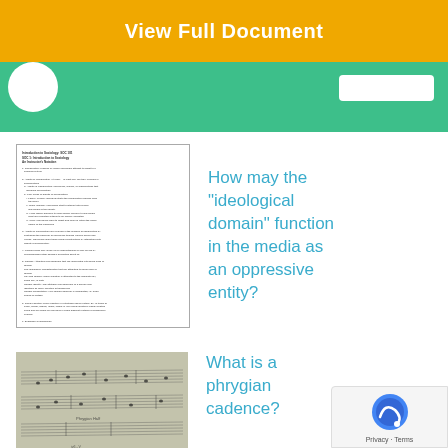View Full Document
[Figure (screenshot): Screenshot of a sociology study guide document with bullet points about socialization, agents of socialization, looking glass self, gender, social location, and oppression]
How may the “ideological domain” function in the media as an oppressive entity?
[Figure (photo): Handwritten music sheet showing musical notation for a phrygian cadence exercise]
What is a phrygian cadence?